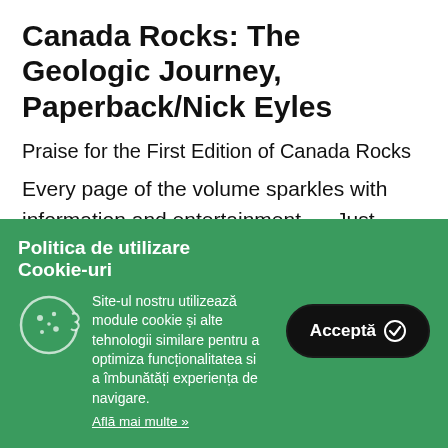Canada Rocks: The Geologic Journey, Paperback/Nick Eyles
Praise for the First Edition of Canada Rocks
Every page of the volume sparkles with information and entertainment. . . Just reading the captions in this profusely illustrated volume provides
Politica de utilizare Cookie-uri
Site-ul nostru utilizează module cookie și alte tehnologii similare pentru a optimiza funcționalitatea si a îmbunătăți experiența de navigare.
Află mai multe »
Acceptă ✓